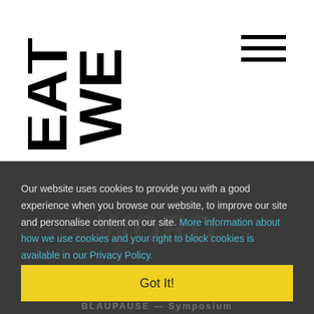[Figure (logo): We Eat Music logo — bold black stacked rotated text reading WE EAT MUSIC]
[Figure (other): Hamburger menu icon — three horizontal black lines]
Our website uses cookies to provide you with a good experience when you browse our website, to improve our site and personalise content on our site. More information about how we use cookies and your right to block cookies is available in our Privacy Policy.
Got It!